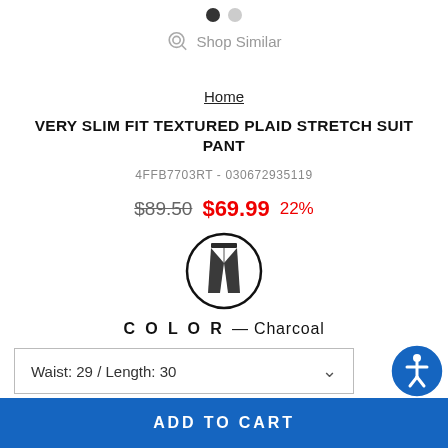[Figure (other): Pagination dots: one filled black dot and one gray dot]
Shop Similar
Home
VERY SLIM FIT TEXTURED PLAID STRETCH SUIT PANT
4FFB7703RT - 030672935119
$89.50  $69.99  22%
[Figure (photo): Circular thumbnail of dark charcoal suit pants]
COLOR — Charcoal
Waist: 29 / Length: 30
Size Chart
ADD TO CART